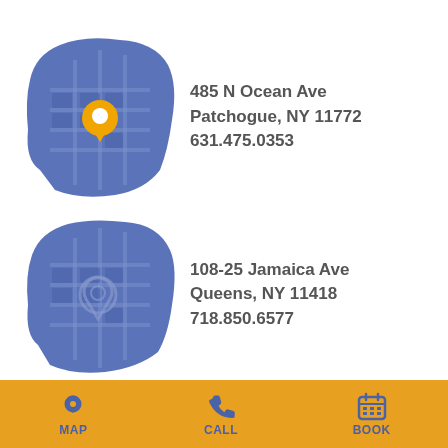[Figure (illustration): Blue rounded map tile with orange location pin marker - Patchogue location]
485 N Ocean Ave
Patchogue, NY 11772
631.475.0353
[Figure (illustration): Blue rounded map tile with faded location pin marker - Queens location]
108-25 Jamaica Ave
Queens, NY 11418
718.850.6577
[Figure (illustration): Partial third map tile barely visible - third location]
20 Grand Ave
MAP  CALL  BOOK